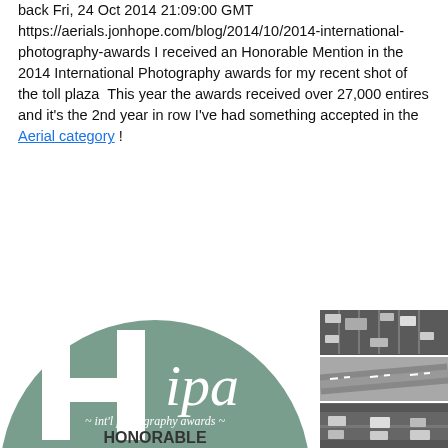back Fri, 24 Oct 2014 21:09:00 GMT https://aerials.jonhope.com/blog/2014/10/2014-international-photography-awards I received an Honorable Mention in the 2014 International Photography awards for my recent shot of the toll plaza  This year the awards received over 27,000 entires and it's the 2nd year in row I've had something accepted in the Aerial category !
[Figure (logo): IPA (International Photography Awards) Honorable Mention badge — circular sage green badge with large H letterform, 'ipa' italic text, '~ int'l photography awards ~' subtitle, and 'HONORABLE' text at bottom]
[Figure (photo): Three stacked black and white aerial photographs of a toll plaza with vehicles and lanes]